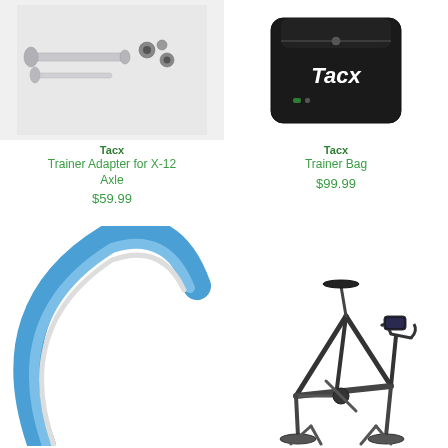[Figure (photo): Tacx Trainer Adapter for X-12 Axle - silver metal axle rods and small connector pieces on light gray background]
Tacx
Trainer Adapter for X-12 Axle
$59.99
[Figure (photo): Tacx Trainer Bag - black fabric carrying bag with Tacx logo in white text on dark background]
Tacx
Trainer Bag
$99.99
[Figure (photo): Blue bicycle trainer tire shown in curved arc shape against white background]
[Figure (photo): Tacx indoor cycling bike / stationary bike with dark gray frame and handlebar setup]